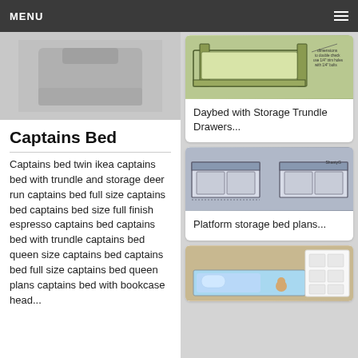MENU
[Figure (photo): Captains bed product photo thumbnail, gray background]
Captains Bed
Captains bed twin ikea captains bed with trundle and storage deer run captains bed full size captains bed captains bed size full finish espresso captains bed captains bed with trundle captains bed queen size captains bed captains bed full size captains bed queen plans captains bed with bookcase head...
[Figure (illustration): Daybed with storage trundle drawers illustration, line drawing style with green/yellow wood tones]
Daybed with Storage Trundle Drawers...
[Figure (illustration): Platform storage bed plans illustration, showing two box-shaped bed frames with open front storage compartments]
Platform storage bed plans...
[Figure (photo): Bookcase headboard bed photo, white finish with storage cubbies above bed]